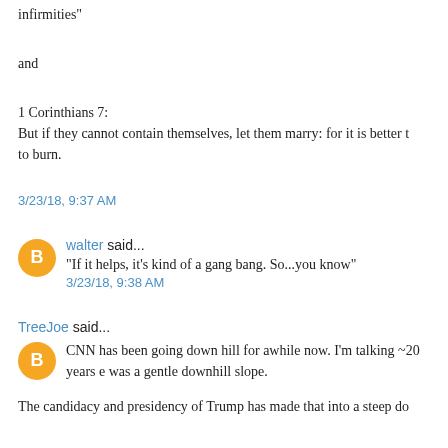infirmities"
and
1 Corinthians 7:
But if they cannot contain themselves, let them marry: for it is better t to burn.
3/23/18, 9:37 AM
walter said...
"If it helps, it's kind of a gang bang. So...you know"
3/23/18, 9:38 AM
TreeJoe said...
CNN has been going down hill for awhile now. I'm talking ~20 years e was a gentle downhill slope.
The candidacy and presidency of Trump has made that into a steep do